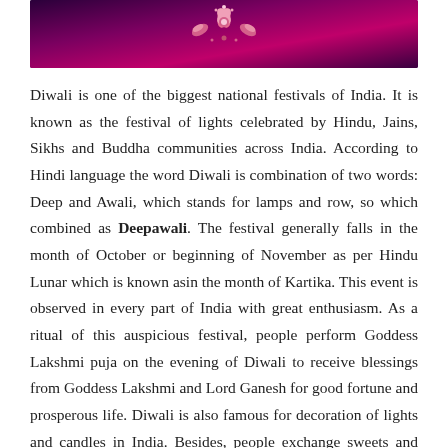[Figure (photo): Decorative Diwali banner with dark purple/magenta gradient background and ornamental floral/paisley design in pink and gold tones at the top of the page.]
Diwali is one of the biggest national festivals of India. It is known as the festival of lights celebrated by Hindu, Jains, Sikhs and Buddha communities across India. According to Hindi language the word Diwali is combination of two words: Deep and Awali, which stands for lamps and row, so which combined as Deepawali. The festival generally falls in the month of October or beginning of November as per Hindu Lunar which is known asin the month of Kartika. This event is observed in every part of India with great enthusiasm. As a ritual of this auspicious festival, people perform Goddess Lakshmi puja on the evening of Diwali to receive blessings from Goddess Lakshmi and Lord Ganesh for good fortune and prosperous life. Diwali is also famous for decoration of lights and candles in India. Besides, people exchange sweets and gifts with their loved ones.